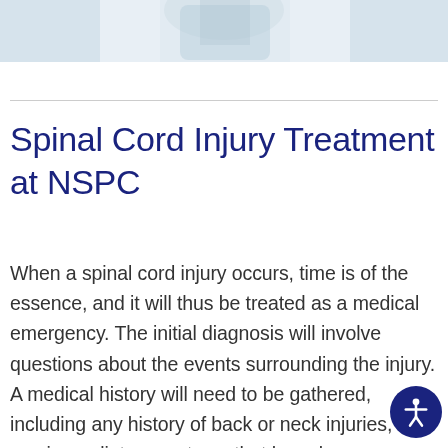[Figure (photo): Partial photo of a person (medical/physical therapy context), cropped at top of page showing upper body against light background]
Spinal Cord Injury Treatment at NSPC
When a spinal cord injury occurs, time is of the essence, and it will thus be treated as a medical emergency. The initial diagnosis will involve questions about the events surrounding the injury. A medical history will need to be gathered, including any history of back or neck injuries, and any immediate symptoms that have begun such as loss of feeling in the extremities, incontinence, and back or neck pain.